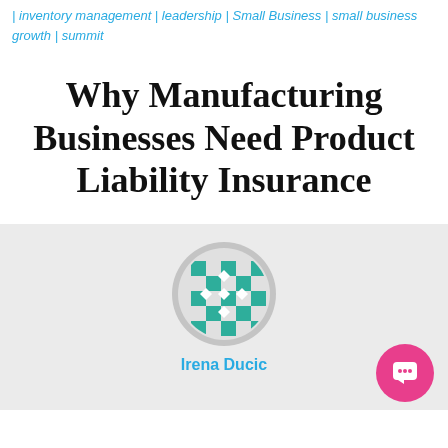| inventory management | leadership | Small Business | small business growth | summit
Why Manufacturing Businesses Need Product Liability Insurance
[Figure (illustration): Author avatar: circular profile image with teal and white checkerboard geometric pattern on gray background. Author name: Irena Ducic shown below. Pink circular chat button in bottom right corner.]